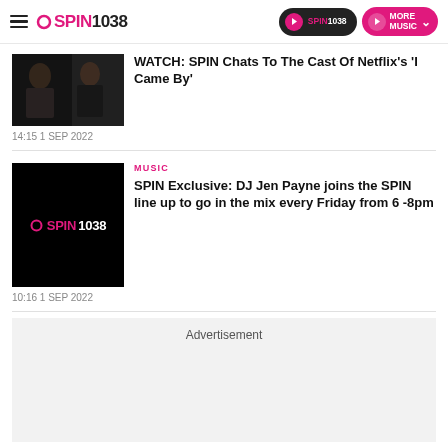SPIN1038
[Figure (screenshot): Dark movie scene with two male characters]
WATCH: SPIN Chats To The Cast Of Netflix's 'I Came By'
14:15 1 SEP 2022
[Figure (logo): SPIN1038 logo on black background]
MUSIC
SPIN Exclusive: DJ Jen Payne joins the SPIN line up to go in the mix every Friday from 6 -8pm
10:16 1 SEP 2022
Advertisement